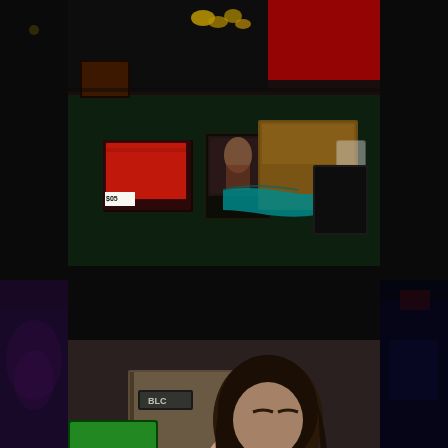[Figure (photo): Photo of a merchandise table with CDs and items including a cardboard box, teal cloth, and a plastic cup in the background]
[Figure (photo): Photo of a performer playing harmonica intensely at The Green Parrot venue, wearing a black sleeveless shirt with tattoos visible, red wristband, with a green sign partially visible reading 'rot' (Green Parrot logo)]
“Genre-Bending Harpist Jason Ricci at The Green Parrot”.